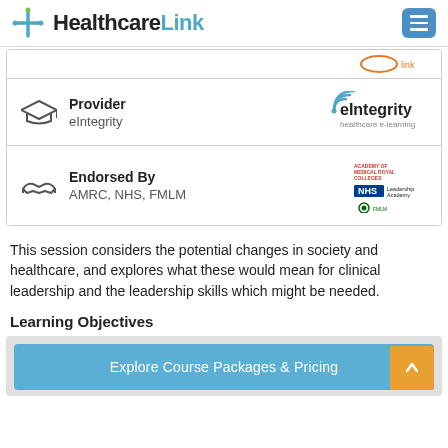HealthcareLink
[Figure (screenshot): Provider row: graduation cap icon, Provider / eIntegrity text, eIntegrity healthcare e-learning logo]
[Figure (screenshot): Endorsed By row: handshake icon, Endorsed By / AMRC, NHS, FMLM text, AMRC NHS Leadership Academy FMLM logos]
This session considers the potential changes in society and healthcare, and explores what these would mean for clinical leadership and the leadership skills which might be needed.
Learning Objectives
[Figure (screenshot): Blue CTA button: Explore Course Packages & Pricing, with orange scroll-to-top button]